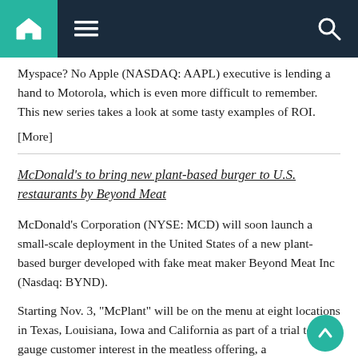Navigation bar with home, menu, and search icons
Myspace? No Apple (NASDAQ: AAPL) executive is lending a hand to Motorola, which is even more difficult to remember. This new series takes a look at some tasty examples of ROI.
[More]
McDonald's to bring new plant-based burger to U.S. restaurants by Beyond Meat
McDonald's Corporation (NYSE: MCD) will soon launch a small-scale deployment in the United States of a new plant-based burger developed with fake meat maker Beyond Meat Inc (Nasdaq: BYND).
Starting Nov. 3, “McPlant” will be on the menu at eight locations in Texas, Louisiana, Iowa and California as part of a trial to gauge customer interest in the meatless offering, a